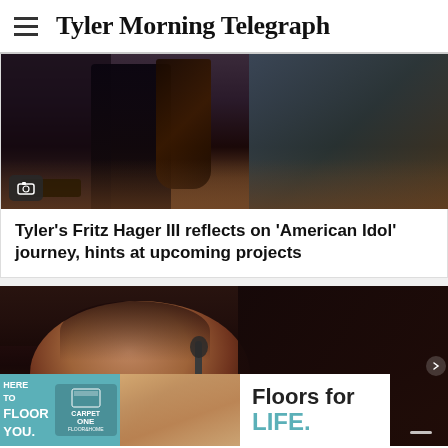Tyler Morning Telegraph
[Figure (photo): Musicians performing on stage, dark background with guitar visible in foreground]
Tyler's Fritz Hager III reflects on 'American Idol' journey, hints at upcoming projects
[Figure (photo): Young male singer performing at microphone, close-up shot in dark venue]
[Figure (other): Advertisement banner: Carpet One - Here To Floor You. Floors for LIFE.]